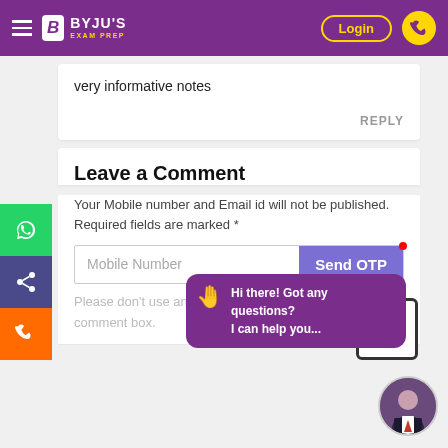BYJU'S EXAM PREP — Login
very informative notes
REPLY
Leave a Comment
Your Mobile number and Email id will not be published. Required fields are marked *
Mobile Number   Send OTP
Hi there! Got any questions? I can help you...
Please don't use any HTML or external links in the comment box.